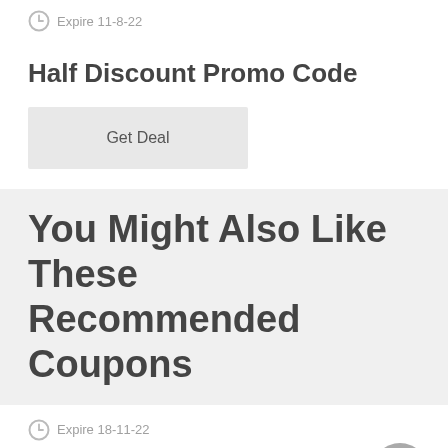Expire 11-8-22
Half Discount Promo Code
Get Deal
You Might Also Like These Recommended Coupons
Expire 18-11-22
$5 OFF 1ST Purchase
Get Coupon  N1